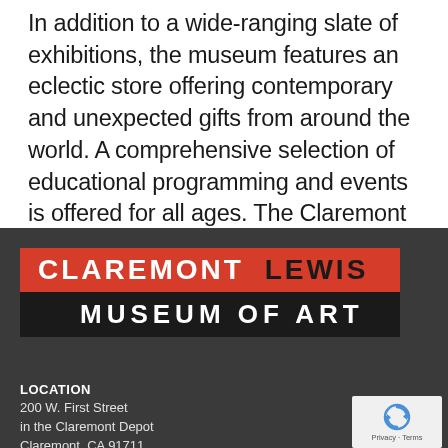In addition to a wide-ranging slate of exhibitions, the museum features an eclectic store offering contemporary and unexpected gifts from around the world. A comprehensive selection of educational programming and events is offered for all ages. The Claremont Museum of Art is an independent, tax-exempt organization.
[Figure (logo): Claremont Lewis Museum of Art logo — red bar with 'CLAREMONT LEWIS' text, black bar with 'MUSEUM OF ART' text]
LOCATION
200 W. First Street
in the Claremont Depot
Claremont, CA 91711
[Figure (logo): reCAPTCHA badge with blue spinning arrows icon and 'Privacy - Terms' text]